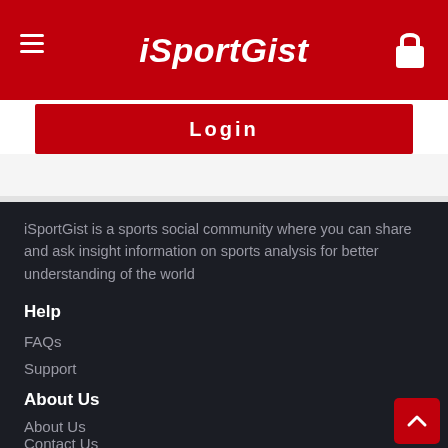iSportGist
Login
iSportGist is a sports social community where you can share and ask insight information on sports analysis for better understanding of the world
Help
FAQs
Support
About Us
About Us
Contact Us
Legal stuff